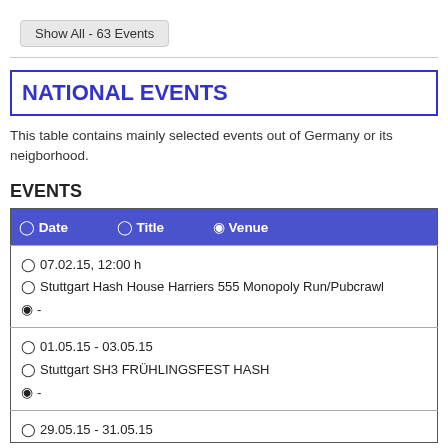Show All - 63 Events
NATIONAL EVENTS
This table contains mainly selected events out of Germany or its neigborhood.
EVENTS
| Date | Title | Venue |
| --- | --- | --- |
| 07.02.15, 12:00 h | Stuttgart Hash House Harriers 555 Monopoly Run/Pubcrawl | - |
| 01.05.15 - 03.05.15 | Stuttgart SH3 FRÜHLINGSFEST HASH | - |
| 29.05.15 - 31.05.15 |  |  |